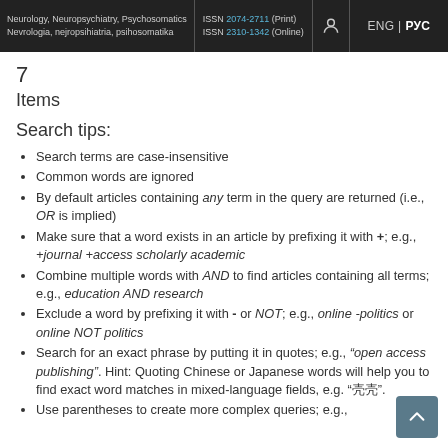Neurology, Neuropsychiatry, Psychosomatics | Nevrologia, nejropsihiatria, psihosomatika | ISSN 2074-2711 (Print) ISSN 2310-1342 (Online) | ENG | РУС
7
Items
Search tips:
Search terms are case-insensitive
Common words are ignored
By default articles containing any term in the query are returned (i.e., OR is implied)
Make sure that a word exists in an article by prefixing it with +; e.g., +journal +access scholarly academic
Combine multiple words with AND to find articles containing all terms; e.g., education AND research
Exclude a word by prefixing it with - or NOT; e.g., online -politics or online NOT politics
Search for an exact phrase by putting it in quotes; e.g., “open access publishing”. Hint: Quoting Chinese or Japanese words will help you to find exact word matches in mixed-language fields, e.g. "壳壳".
Use parentheses to create more complex queries; e.g.,